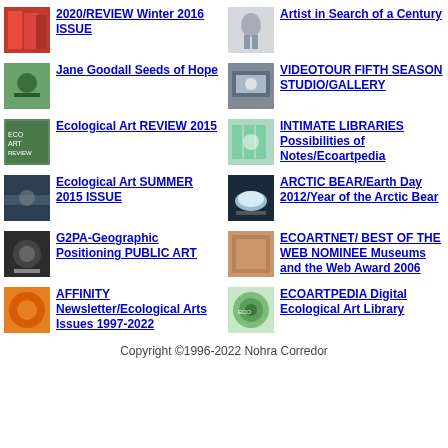2020/REVIEW Winter 2016 ISSUE
Artist in Search of a Century
Jane Goodall Seeds of Hope
VIDEOTOUR FIFTH SEASON STUDIO/GALLERY
Ecological Art REVIEW 2015
INTIMATE LIBRARIES Possibilities of Notes/Ecoartpedia
Ecological Art SUMMER 2015 ISSUE
ARCTIC BEAR/Earth Day 2012/Year of the Arctic Bear
G2PA-Geographic Positioning PUBLIC ART
ECOARTNET/ BEST OF THE WEB NOMINEE Museums and the Web Award 2006
AFFINITY Newsletter/Ecological Arts Issues 1997-2022
ECOARTPEDIA Digital Ecological Art Library
Copyright ©1996-2022 Nohra Corredor